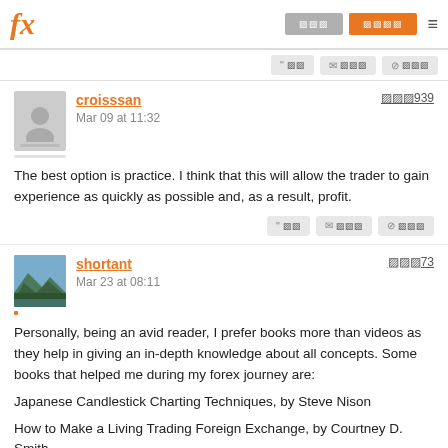fx | ロウソク | 受信箱 | ≡
❝ 引用 | ✉ 返信 | ⊘ 無視
croisssan | Mar 09 at 11:32 | 評価939
The best option is practice. I think that this will allow the trader to gain experience as quickly as possible and, as a result, profit.
❝ 引用 | ✉ 返信 | ⊘ 無視
shortant | Mar 23 at 08:11 | 評価73
Personally, being an avid reader, I prefer books more than videos as they help in giving an in-depth knowledge about all concepts. Some books that helped me during my forex journey are:
Japanese Candlestick Charting Techniques, by Steve Nison
How to Make a Living Trading Foreign Exchange, by Courtney D. Smith